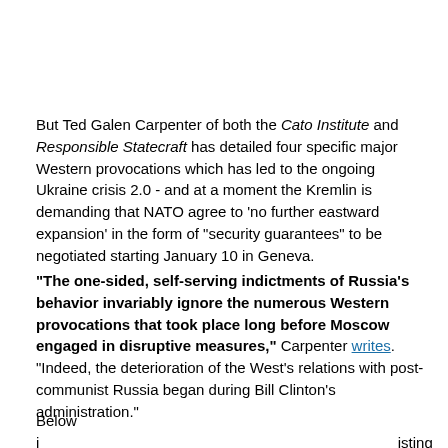But Ted Galen Carpenter of both the Cato Institute and Responsible Statecraft has detailed four specific major Western provocations which has led to the ongoing Ukraine crisis 2.0 - and at a moment the Kremlin is demanding that NATO agree to 'no further eastward expansion' in the form of "security guarantees" to be negotiated starting January 10 in Geneva.
"The one-sided, self-serving indictments of Russia's behavior invariably ignore the numerous Western provocations that took place long before Moscow engaged in disruptive measures," Carpenter writes. "Indeed, the deterioration of the West's relations with post-communist Russia began during Bill Clinton's administration."
Below i ... isting and exp ... U.S.-Russia...